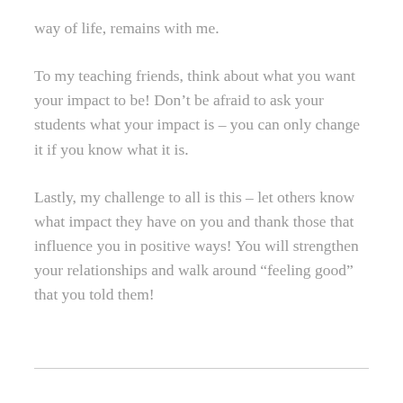way of life, remains with me.
To my teaching friends, think about what you want your impact to be! Don't be afraid to ask your students what your impact is – you can only change it if you know what it is.
Lastly, my challenge to all is this – let others know what impact they have on you and thank those that influence you in positive ways! You will strengthen your relationships and walk around “feeling good” that you told them!